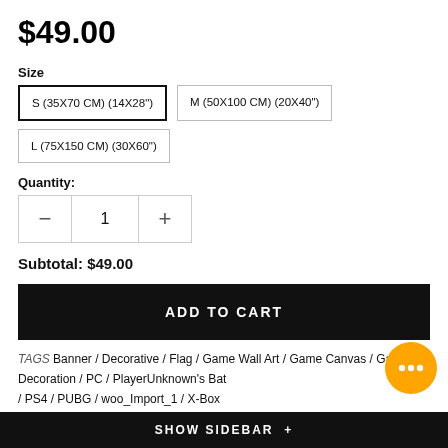$49.00
Size
S (35X70 CM) (14X28")
M (50X100 CM) (20X40")
L (75X150 CM) (30X60")
Quantity:
— 1 +
Subtotal: $49.00
ADD TO CART
TAGS Banner / Decorative / Flag / Game Wall Art / Game Canvas / Gaming Decoration / PC / PlayerUnknown's Bat / PS4 / PUBG / woo_Import_1 / X-Box
SHOW SIDEBAR +